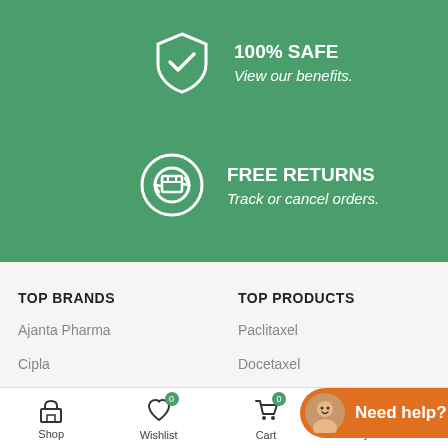[Figure (screenshot): Green banner with shield checkmark icon for 100% SAFE and a box returns icon for FREE RETURNS]
100% SAFE
View our benefits.
FREE RETURNS
Track or cancel orders.
TOP BRANDS
TOP PRODUCTS
Ajanta Pharma
Cipla
Natco Pharma
Paclitaxel
Docetaxel
Need help? Let's chat
Shop   Wishlist 0   Cart 0   My account